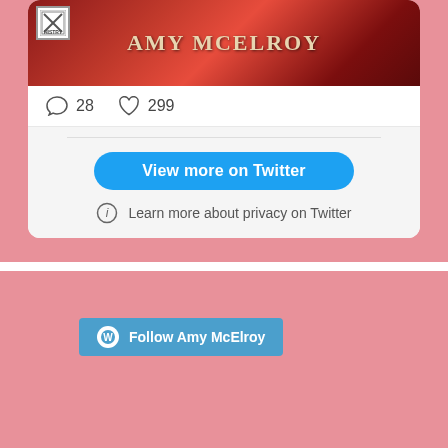[Figure (screenshot): A Twitter/social media embed card showing a book cover featuring 'Amy McElroy' text on a red background with an ornate design. Below the book cover image are interaction counts: 28 comments and 299 likes. A gray footer section shows a 'View more on Twitter' blue button and a 'Learn more about privacy on Twitter' link with an info icon.]
[Figure (screenshot): A pink-background WordPress 'Follow Amy McElroy' button widget at the bottom of the page.]